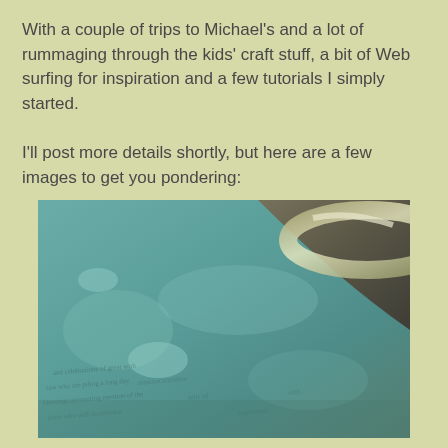With a couple of trips to Michael's and a lot of rummaging through the kids' craft stuff, a bit of Web surfing for inspiration and a few tutorials I simply started.

I'll post more details shortly, but here are a few images to get you pondering:
[Figure (photo): Close-up photo of a book page painted with teal/turquoise paint, with faint text visible beneath. A curved edge of what appears to be a bowl or dish is visible in the upper right corner.]